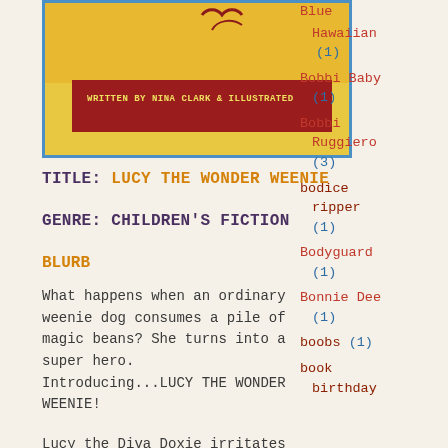[Figure (photo): Book cover for Lucy the Wonder Weenie, written by Nina Clark & Illustrated, shown with a yellow and red banner.]
TITLE: LUCY THE WONDER WEENIE
GENRE: CHILDREN'S FICTION
BLURB
What happens when an ordinary weenie dog consumes a pile of magic beans? She turns into a super hero. Introducing...LUCY THE WONDER WEENIE!
Lucy the Diva Doxie irritates
Blue Hawaiian (1)
Bobbi Baby (1)
Bobbi Ruggiero (3)
bodice ripper (1)
Bodyguard (1)
Bonnie Dee (1)
boobs (1)
book birthday